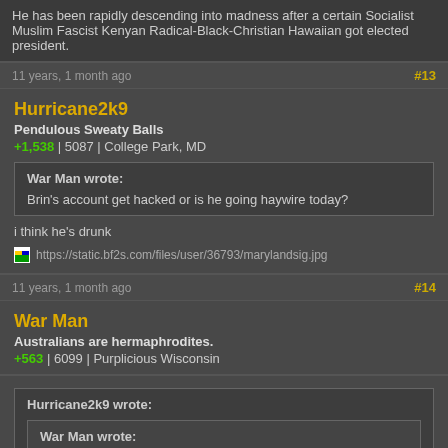He has been rapidly descending into madness after a certain Socialist Muslim Fascist Kenyan Radical-Black-Christian Hawaiian got elected president.
11 years, 1 month ago
#13
Hurricane2k9
Pendulous Sweaty Balls
+1,538 | 5087 | College Park, MD
War Man wrote: Brin's account get hacked or is he going haywire today?
i think he's drunk
https://static.bf2s.com/files/user/36793/marylandsig.jpg
11 years, 1 month ago
#14
War Man
Australians are hermaphrodites.
+563 | 6099 | Purplicious Wisconsin
Hurricane2k9 wrote:
War Man wrote: